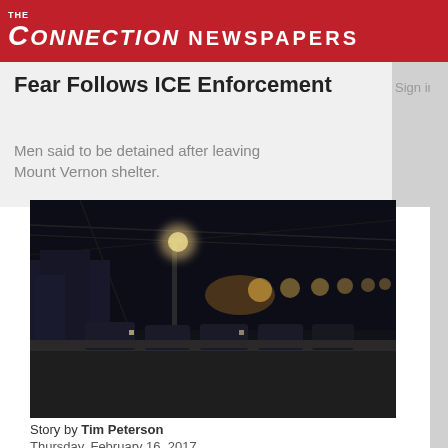THE CONNECTION NEWSPAPERS
Fear Follows ICE Enforcement
Men said to be detained after leaving Mount Vernon shelter.
Sign in
[Figure (photo): Night-time street scene showing a road with streetlights, parked cars, and buildings in the background.]
Story by Tim Peterson
Thursday, February 16, 2017
Around 6:45 a.m. Wednesday, Feb. 8, Oscar Ramirez, Marvin Roach, Thermon Brewster and